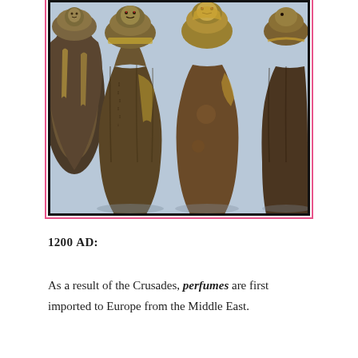[Figure (photo): Photograph of four ancient Egyptian canopic jars with human-faced lids, decorated with hieroglyphics and golden paint, displayed against a light blue background.]
1200 AD:
As a result of the Crusades, perfumes are first imported to Europe from the Middle East.